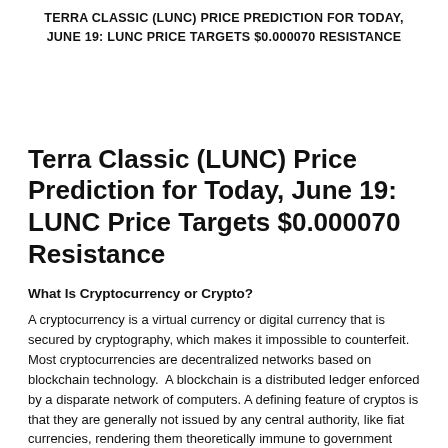TERRA CLASSIC (LUNC) PRICE PREDICTION FOR TODAY, JUNE 19: LUNC PRICE TARGETS $0.000070 RESISTANCE
Terra Classic (LUNC) Price Prediction for Today, June 19: LUNC Price Targets $0.000070 Resistance
What Is Cryptocurrency or Crypto?
A cryptocurrency is a virtual currency or digital currency that is secured by cryptography, which makes it impossible to counterfeit. Most cryptocurrencies are decentralized networks based on blockchain technology.  A blockchain is a distributed ledger enforced by a disparate network of computers. A defining feature of cryptos is that they are generally not issued by any central authority, like fiat currencies, rendering them theoretically immune to government interference or